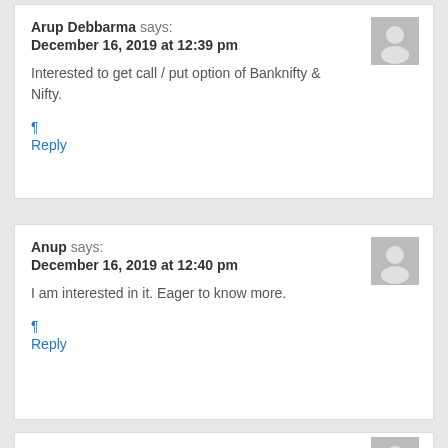Arup Debbarma says:
December 16, 2019 at 12:39 pm
Interested to get call / put option of Banknifty & Nifty.
¶
Reply
Anup says:
December 16, 2019 at 12:40 pm
I am interested in it. Eager to know more.
¶
Reply